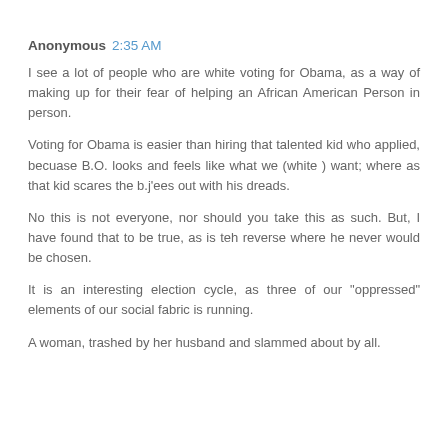Anonymous 2:35 AM
I see a lot of people who are white voting for Obama, as a way of making up for their fear of helping an African American Person in person.
Voting for Obama is easier than hiring that talented kid who applied, becuase B.O. looks and feels like what we (white ) want; where as that kid scares the b.j'ees out with his dreads.
No this is not everyone, nor should you take this as such. But, I have found that to be true, as is teh reverse where he never would be chosen.
It is an interesting election cycle, as three of our "oppressed" elements of our social fabric is running.
A woman, trashed by her husband and slammed about by all.